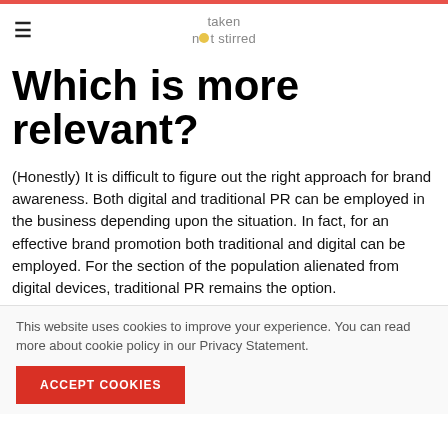taken not stirred
Which is more relevant?
(Honestly) It is difficult to figure out the right approach for brand awareness. Both digital and traditional PR can be employed in the business depending upon the situation. In fact, for an effective brand promotion both traditional and digital can be employed. For the section of the population alienated from digital devices, traditional PR remains the option.
This website uses cookies to improve your experience. You can read more about cookie policy in our Privacy Statement.